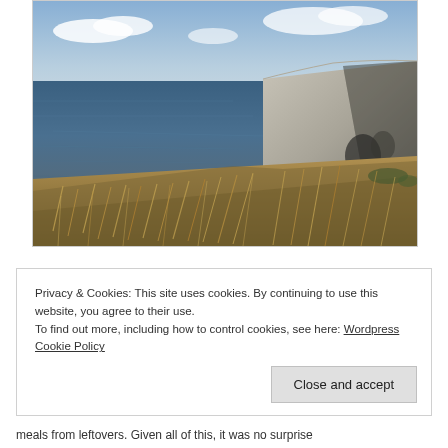[Figure (photo): Coastal cliff landscape photograph showing white chalk cliffs on the right side, a dark blue sea in the background and left, with dry golden grass in the foreground on a clifftop. Blue sky with light clouds in the upper portion.]
Privacy & Cookies: This site uses cookies. By continuing to use this website, you agree to their use.
To find out more, including how to control cookies, see here: Wordpress Cookie Policy
Close and accept
meals from leftovers. Given all of this, it was no surprise